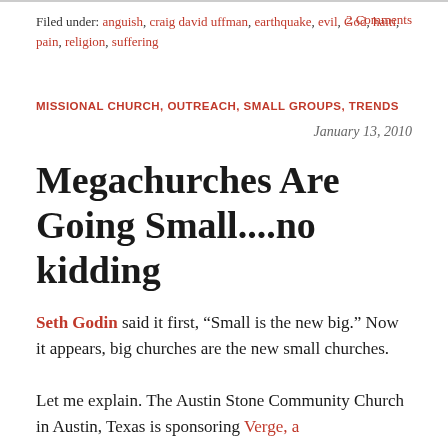Filed under: anguish, craig david uffman, earthquake, evil, God, haiti, pain, religion, suffering    2 Comments
MISSIONAL CHURCH, OUTREACH, SMALL GROUPS, TRENDS
January 13, 2010
Megachurches Are Going Small....no kidding
Seth Godin said it first, “Small is the new big.”  Now it appears, big churches are the new small churches.
Let me explain. The Austin Stone Community Church in Austin, Texas is sponsoring Verge, a